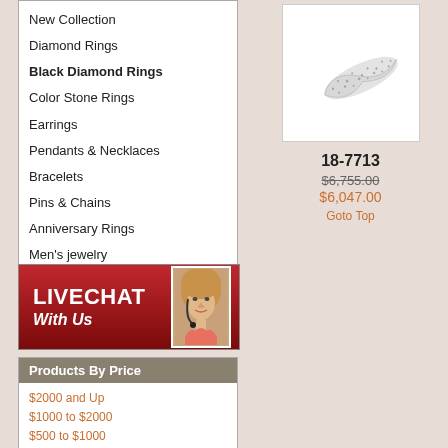New Collection
Diamond Rings
Black Diamond Rings
Color Stone Rings
Earrings
Pendants & Necklaces
Bracelets
Pins & Chains
Anniversary Rings
Men's jewelry
Clearance Sale
Silver Jewelry
[Figure (photo): Red banner with LIVECHAT With Us text and woman photo]
Products By Price
$2000 and Up
$1000 to $2000
$500 to $1000
$100 to $500
Below $100
[Figure (photo): Jewelry item 18-7713 diamond ring or bracelet]
18-7713
$6,755.00
$6,047.00
Goto Top